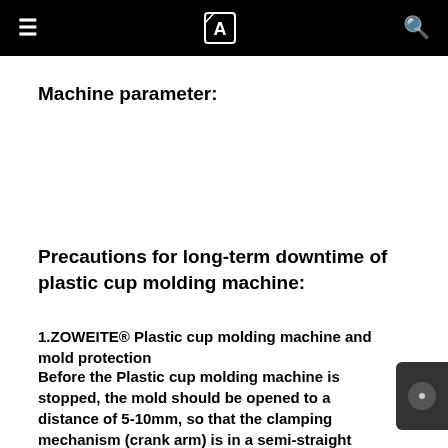≡  [A]  🔍
Machine parameter:
Precautions for long-term downtime of plastic cup molding machine:
1.ZOWEITE® Plastic cup molding machine and mold protection
Before the Plastic cup molding machine is stopped, the mold should be opened to a distance of 5-10mm, so that the clamping mechanism (crank arm) is in a semi-straight state, and the injection molding machine clamping mechanism (crank arm) is in an unforced